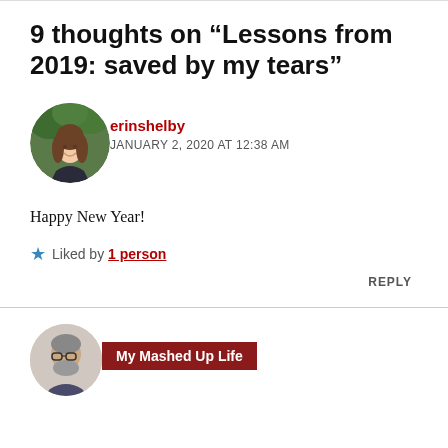9 thoughts on “Lessons from 2019: saved by my tears”
erinshelby
JANUARY 2, 2020 AT 12:38 AM
Happy New Year!
★ Liked by 1 person
REPLY
[Figure (photo): Circular avatar of a woman with long brown hair smiling, outdoors with green foliage background]
My Mashed Up Life
[Figure (photo): Circular avatar of a man with glasses and grey beard]